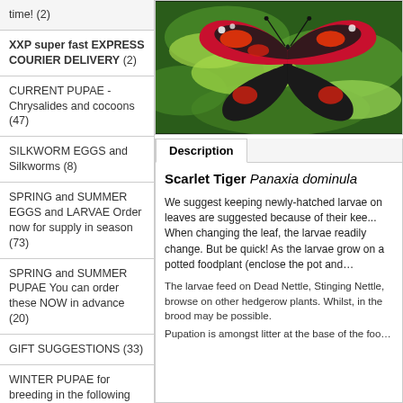time! (2)
XXP super fast EXPRESS COURIER DELIVERY (2)
CURRENT PUPAE - Chrysalides and cocoons (47)
SILKWORM EGGS and Silkworms (8)
SPRING and SUMMER EGGS and LARVAE Order now for supply in season (73)
SPRING and SUMMER PUPAE You can order these NOW in advance (20)
GIFT SUGGESTIONS (33)
WINTER PUPAE for breeding in the following season (30)
CAGES (11)
PHASMIDS Leaf & Stick Insects, Mantids and more
[Figure (photo): Scarlet Tiger moth (Panaxia dominula) with red and black wings, resting on green leaves]
Description
Scarlet Tiger Panaxia dominula
We suggest keeping newly-hatched larvae on leaves are suggested because of their kee... When changing the leaf, the larvae readily change. But be quick! As the larvae grow on a potted foodplant (enclose the pot and...
The larvae feed on Dead Nettle, Stinging Nettle, browse on other hedgerow plants. Whilst, in the brood may be possible.
Pupation is amongst litter at the base of the foo...